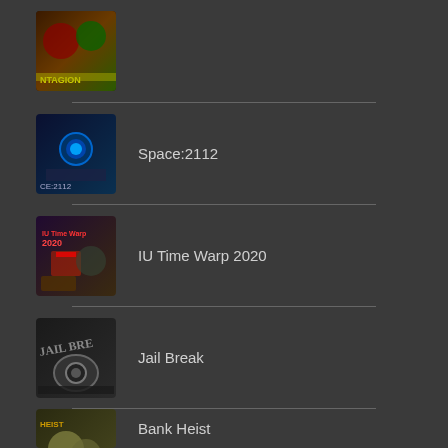[Figure (screenshot): App list showing game thumbnails and titles on dark background]
Space:2112
IU Time Warp 2020
Jail Break
Bank Heist